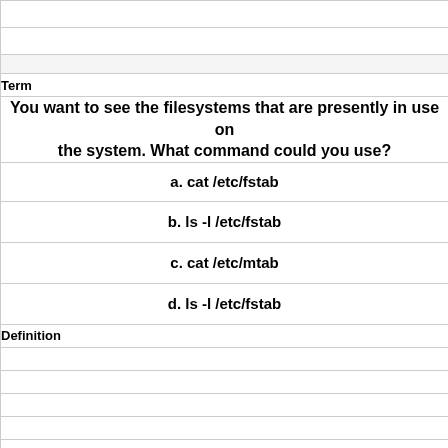|  |
|  |
|  |
| Term |
| You want to see the filesystems that are presently in use on the system. What command could you use? |
| a.  cat /etc/fstab |
| b.  ls -l /etc/fstab |
| c.  cat /etc/mtab |
| d.  ls -l /etc/fstab |
| Definition |
|  |
|  |
|  |
|  |
|  |